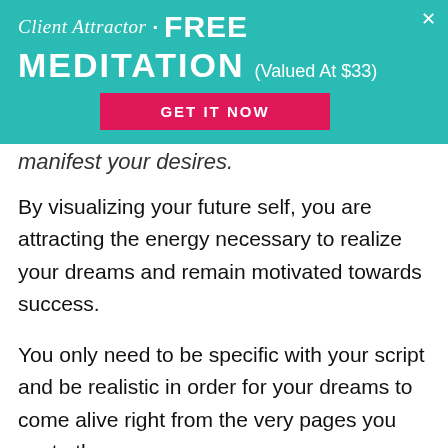[Figure (screenshot): Teal promotional banner with script and sans-serif text reading 'Client Attractor • FREE MEDITATION (Valued At $33)' and a pink/red button 'GET IT NOW', with an X close button in the top right.]
manifest your desires.
By visualizing your future self, you are attracting the energy necessary to realize your dreams and remain motivated towards success.
You only need to be specific with your script and be realistic in order for your dreams to come alive right from the very pages you wrote them on.